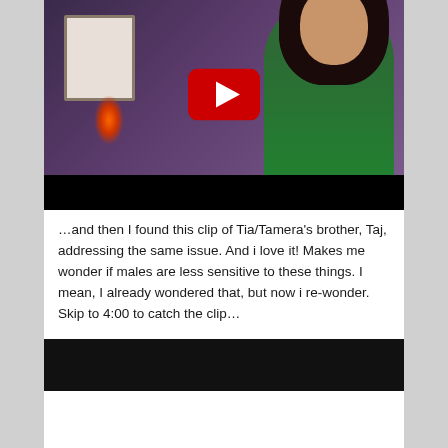[Figure (screenshot): YouTube video embed thumbnail showing a woman with curly hair wearing a green top, in a room with purple walls and a framed photo. A red YouTube play button is overlaid in the center. The bottom portion of the video player is black.]
…and then I found this clip of Tia/Tamera's brother, Taj, addressing the same issue.  And i love it!  Makes me wonder if males are less sensitive to these things.  I mean, I already wondered that, but now i re-wonder.  Skip to 4:00 to catch the clip…
[Figure (screenshot): Bottom portion of another YouTube video embed, showing only the black video player area.]